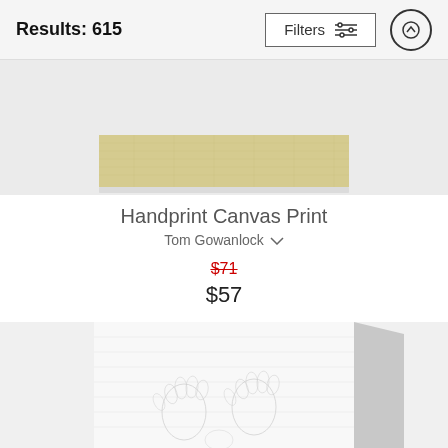Results: 615
Filters
[Figure (screenshot): Top portion of a canvas print product showing a beige/gold textured canvas wrap viewed from slightly above, showing the top and front face of the canvas.]
Handprint Canvas Print
Tom Gowanlock
$71 (strikethrough) $57
[Figure (photo): Canvas print showing handprints on a white/light textured surface, viewed at an angle showing the front and right side of the canvas wrap. The handprints are subtle impressions in various shades of grey on a white background.]